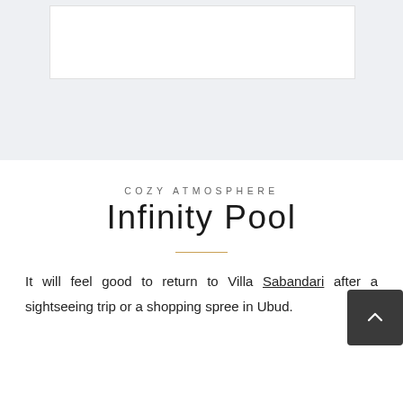[Figure (other): Gray background section with a white rectangular box/frame at the top of the page]
COZY ATMOSPHERE
Infinity Pool
It will feel good to return to Villa Sabandari after a sightseeing trip or a shopping spree in Ubud.